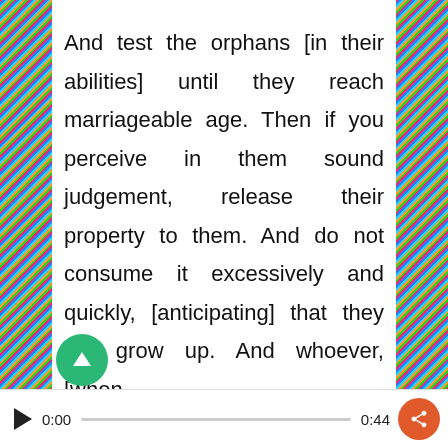And test the orphans [in their abilities] until they reach marriageable age. Then if you perceive in them sound judgement, release their property to them. And do not consume it excessively and quickly, [anticipating] that they will grow up. And whoever, [when